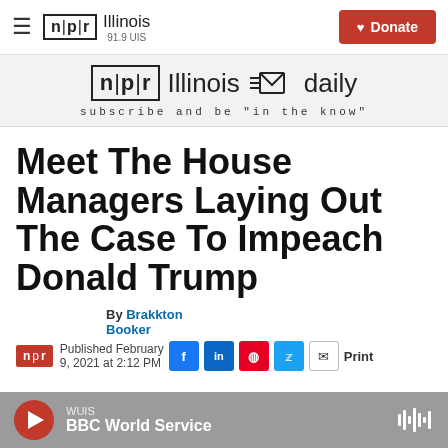NPR Illinois 91.9 UIS — Donate
[Figure (screenshot): NPR Illinois daily newsletter banner — subscribe and be 'in the know']
Meet The House Managers Laying Out The Case To Impeach Donald Trump
By Brakkton Booker
Published February 9, 2021 at 2:12 PM
[Figure (other): Audio player bar: WUIS BBC World Service]
WUIS BBC World Service